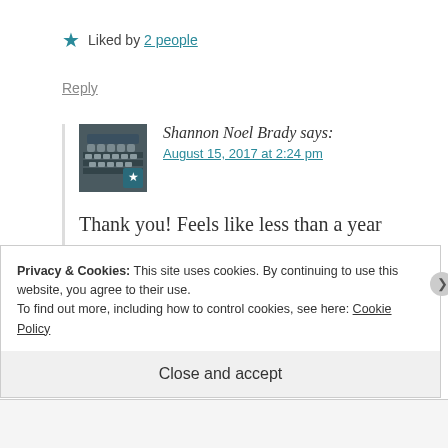★ Liked by 2 people
Reply
[Figure (photo): Avatar image of typewriter keys with a white star badge overlay]
Shannon Noel Brady says:
August 15, 2017 at 2:24 pm
Thank you! Feels like less than a year to me too. Time is nutty.
Privacy & Cookies: This site uses cookies. By continuing to use this website, you agree to their use.
To find out more, including how to control cookies, see here: Cookie Policy
Close and accept